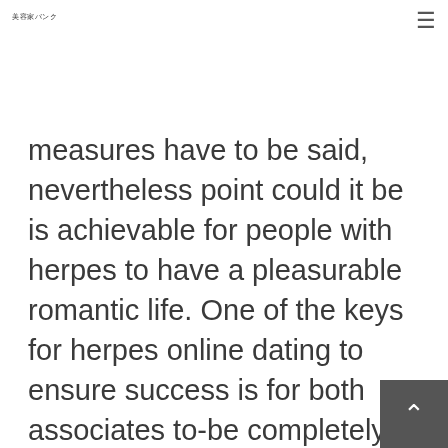美容家バンク
measures have to be said, nevertheless point could it be is achievable for people with herpes to have a pleasurable romantic life. One of the keys for herpes online dating to ensure success is for both associates to-be completely sincere with each other regarding the illness. When you yourself have herpes, you have to determine it your lover as early in the matchmaking level as it can. If you're dating anyone with herpes then you certainly ought to be sincere precisely how you really feel concerning the